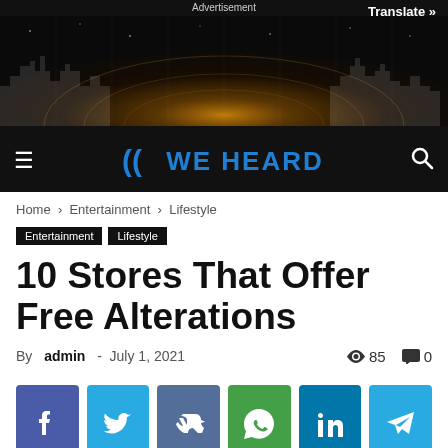Advertisement | Translate »
[Figure (illustration): Futuristic city skyline banner with glowing lights and radial grid pattern on dark background]
≡  ((WE HEARD  🔍
Home › Entertainment › Lifestyle
Entertainment  Lifestyle
10 Stores That Offer Free Alterations
By admin - July 1, 2021   👁 85   💬 0
[Figure (infographic): Social share buttons row: Facebook (blue), Twitter (light blue), VK (slate), WhatsApp (green), LinkedIn (teal), Telegram (light blue)]